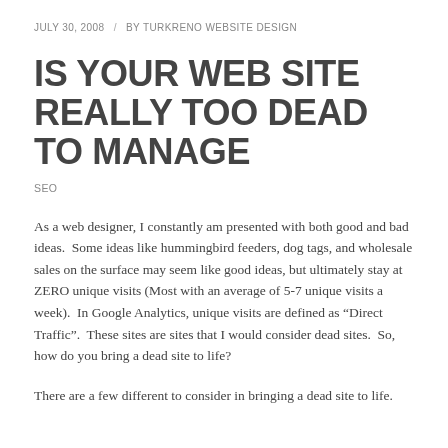JULY 30, 2008  /  BY TURKRENO WEBSITE DESIGN
IS YOUR WEB SITE REALLY TOO DEAD TO MANAGE
SEO
As a web designer, I constantly am presented with both good and bad ideas.  Some ideas like hummingbird feeders, dog tags, and wholesale sales on the surface may seem like good ideas, but ultimately stay at ZERO unique visits (Most with an average of 5-7 unique visits a week).  In Google Analytics, unique visits are defined as “Direct Traffic”.  These sites are sites that I would consider dead sites.  So, how do you bring a dead site to life?
There are a few different to consider in bringing a dead site to life.